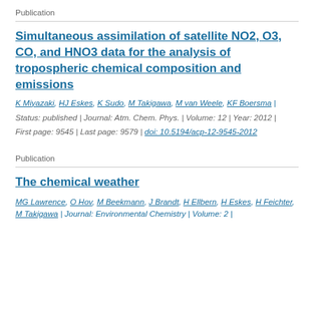Publication
Simultaneous assimilation of satellite NO2, O3, CO, and HNO3 data for the analysis of tropospheric chemical composition and emissions
K Miyazaki, HJ Eskes, K Sudo, M Takigawa, M van Weele, KF Boersma | Status: published | Journal: Atm. Chem. Phys. | Volume: 12 | Year: 2012 | First page: 9545 | Last page: 9579 | doi: 10.5194/acp-12-9545-2012
Publication
The chemical weather
MG Lawrence, O Hov, M Beekmann, J Brandt, H Ellbern, H Eskes, H Feichter, M Takigawa | Journal: Environmental Chemistry | Volume: 2 |